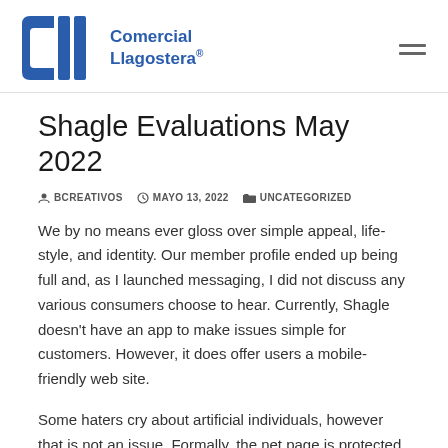[Figure (logo): Comercial Llagostera logo with blue C11 monogram and text 'Comercial Llagostera®']
Shagle Evaluations May 2022
BCREATIVOS   MAYO 13, 2022   UNCATEGORIZED
We by no means ever gloss over simple appeal, life-style, and identity. Our member profile ended up being full and, as I launched messaging, I did not discuss any various consumers choose to hear. Currently, Shagle doesn't have an app to make issues simple for customers. However, it does offer users a mobile-friendly web site.
Some haters cry about artificial individuals, however that is not an issue. Formally, the net page is protected